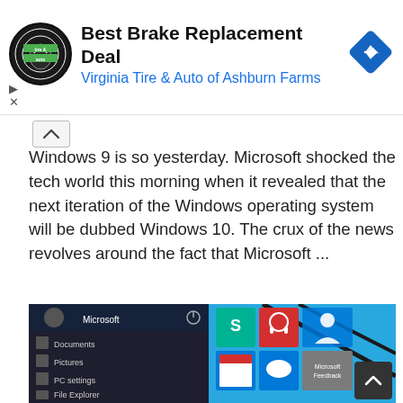[Figure (screenshot): Advertisement banner for Virginia Tire & Auto of Ashburn Farms showing 'Best Brake Replacement Deal' with circular logo and blue diamond navigation icon]
Windows 9 is so yesterday. Microsoft shocked the tech world this morning when it revealed that the next iteration of the Windows operating system will be dubbed Windows 10. The crux of the news revolves around the fact that Microsoft ...
Read More »
[Figure (screenshot): Screenshot of Windows 10 Start menu interface showing Microsoft tile panel with Skype, music, and other app tiles on a blue background with diagonal design elements]